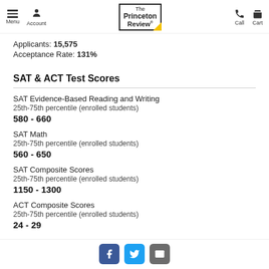Menu | Account | The Princeton Review | Call | Cart
Applicants: 15,575
Acceptance Rate: 131%
SAT & ACT Test Scores
SAT Evidence-Based Reading and Writing
25th-75th percentile (enrolled students)
580 - 660
SAT Math
25th-75th percentile (enrolled students)
560 - 650
SAT Composite Scores
25th-75th percentile (enrolled students)
1150 - 1300
ACT Composite Scores
25th-75th percentile (enrolled students)
24 - 29
Facebook | Twitter | Email